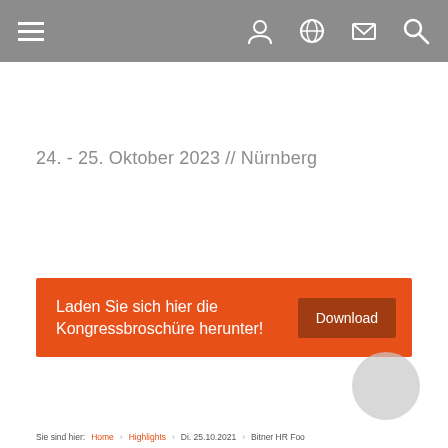Navigation header with hamburger menu and icons
24. - 25. Oktober 2023 // Nürnberg
[Figure (infographic): Orange call-to-action banner with text 'Laden Sie sich hier die Kongressbroschüre herunter!' and a dark Download button]
Sie sind hier: Home › Highlights › Di. 25.10.2021 › Bitner HR Foo